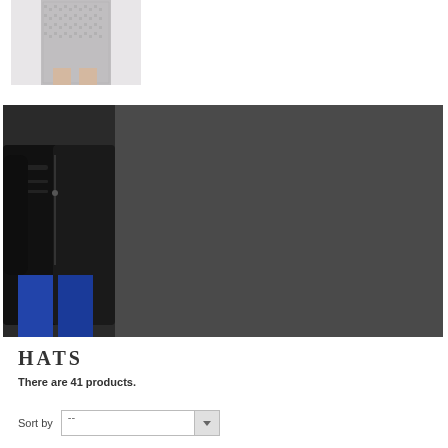[Figure (photo): Product photo of a woman wearing a sequin/glitter pencil skirt, cropped to show lower torso and legs against a light background]
[Figure (photo): Banner image split into two parts: left side shows a woman wearing a black leather biker jacket with jeans; right side is a dark gray/charcoal solid panel]
HATS
There are 41 products.
Sort by  --